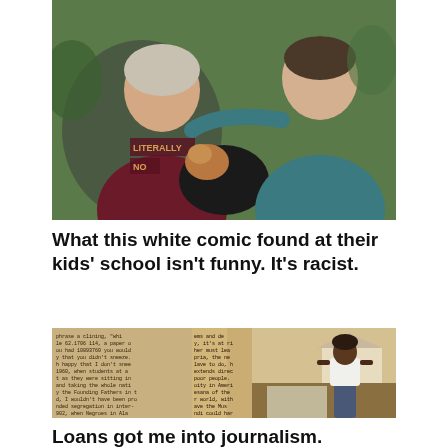[Figure (photo): Two adults (a woman in a dark shirt and a man in a teal polo) sitting outdoors with a black and tan dog on the woman's lap. The woman's shirt partially reads 'LITERALLY' and 'NO'.]
What this white comic found at their kids' school isn't funny. It's racist.
[Figure (photo): Composite image: left side shows dense text (a printed document with racist content), right side shows a young Black man in a white t-shirt and jeans standing on a sidewalk in a suburban setting.]
Loans got me into journalism. Student